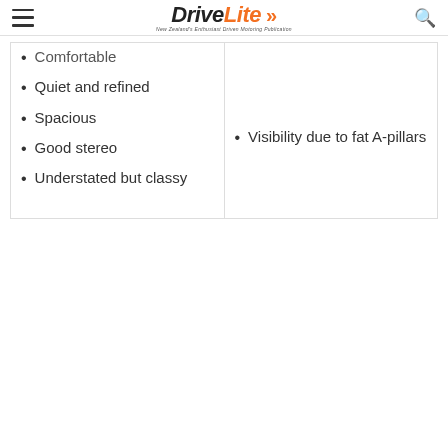DriveLite — New Zealand's Enthusiast Driven Motoring Publication
Comfortable
Quiet and refined
Spacious
Good stereo
Understated but classy
Visibility due to fat A-pillars